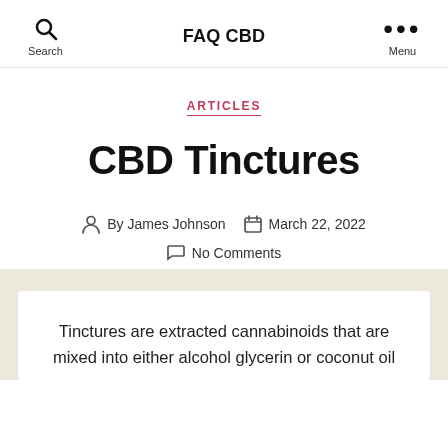FAQ CBD
ARTICLES
CBD Tinctures
By James Johnson   March 22, 2022   No Comments
Tinctures are extracted cannabinoids that are mixed into either alcohol glycerin or coconut oil